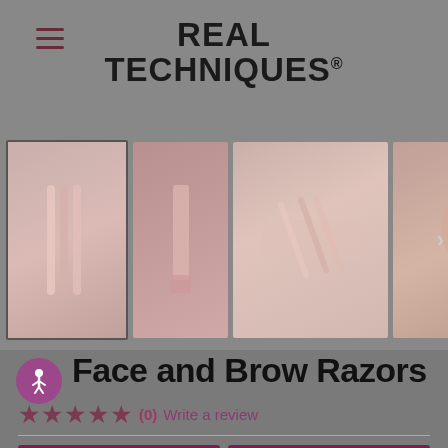REAL TECHNIQUES®
[Figure (photo): Product image carousel showing Face and Brow Razors from multiple angles: first thumbnail selected (razors product shot), second (product in packaging), third (flat lay of razors with box), fourth (model using razor on eyebrow)]
Face and Brow Razors
★★★★★ (0) Write a review
Ulta Beauty   Amazon
Item #: 4268
Easily remove dead skin cells and unwanted facial